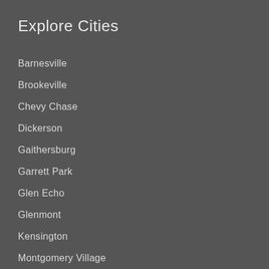Explore Cities
Barnesville
Brookeville
Chevy Chase
Dickerson
Gaithersburg
Garrett Park
Glen Echo
Glenmont
Kensington
Montgomery Village
North Chevy Chase